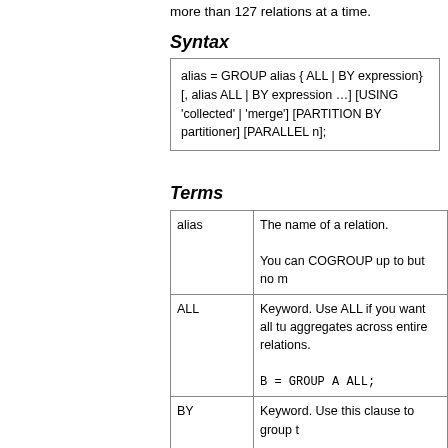more than 127 relations at a time.
Syntax
alias = GROUP alias { ALL | BY expression} [, alias ALL | BY expression …] [USING 'collected' | 'merge'] [PARTITION BY partitioner] [PARALLEL n];
Terms
|  |  |
| --- | --- |
| alias | The name of a relation.

You can COGROUP up to but no m |
| ALL | Keyword. Use ALL if you want all tu aggregates across entire relations.

B = GROUP A ALL; |
| BY | Keyword. Use this clause to group t

B = GROUP A BY f1; |
| expression | A tuple expression. This is the grou single field, the key will be the value using multiple keys, enclose the ke

B = GROUP A BY (key1,key2); |